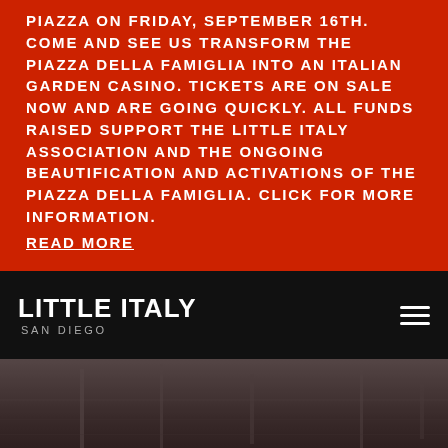PIAZZA ON FRIDAY, SEPTEMBER 16TH. COME AND SEE US TRANSFORM THE PIAZZA DELLA FAMIGLIA INTO AN ITALIAN GARDEN CASINO. TICKETS ARE ON SALE NOW AND ARE GOING QUICKLY. ALL FUNDS RAISED SUPPORT THE LITTLE ITALY ASSOCIATION AND THE ONGOING BEAUTIFICATION AND ACTIVATIONS OF THE PIAZZA DELLA FAMIGLIA. CLICK FOR MORE INFORMATION. READ MORE
[Figure (screenshot): Little Italy San Diego website navigation bar with logo text 'LITTLE ITALY SAN DIEGO' on black background and hamburger menu icon on the right]
[Figure (photo): Dark/black-and-white hero image of a harbor or marina, partially visible at bottom of page with large white text 'Celebrating Pride in' overlaid]
Celebrating Pride in